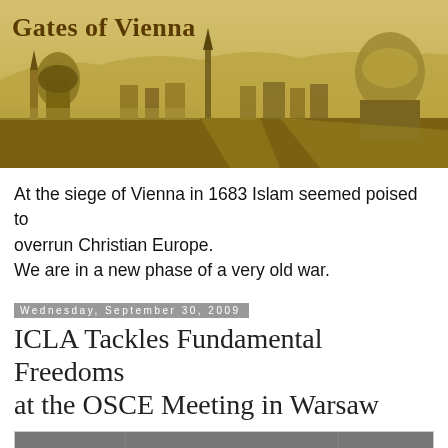[Figure (photo): Gates of Vienna blog header banner — historical panoramic cityscape of Vienna in sepia/golden tones with 'Gates of Vienna' title text overlay]
At the siege of Vienna in 1683 Islam seemed poised to overrun Christian Europe.
We are in a new phase of a very old war.
Wednesday, September 30, 2009
ICLA Tackles Fundamental Freedoms at the OSCE Meeting in Warsaw
[Figure (photo): Photo of people seated at a conference or meeting, viewed from behind/side, partially visible]